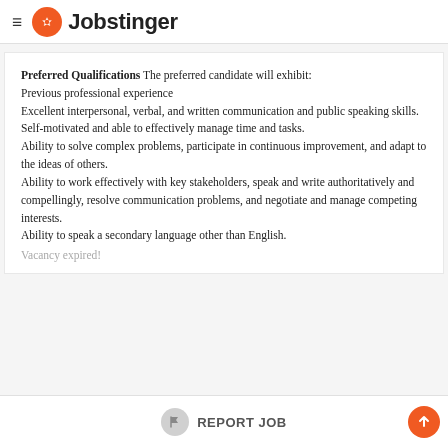Jobstinger
Preferred Qualifications The preferred candidate will exhibit: Previous professional experience Excellent interpersonal, verbal, and written communication and public speaking skills. Self-motivated and able to effectively manage time and tasks. Ability to solve complex problems, participate in continuous improvement, and adapt to the ideas of others. Ability to work effectively with key stakeholders, speak and write authoritatively and compellingly, resolve communication problems, and negotiate and manage competing interests. Ability to speak a secondary language other than English.
Vacancy expired!
REPORT JOB